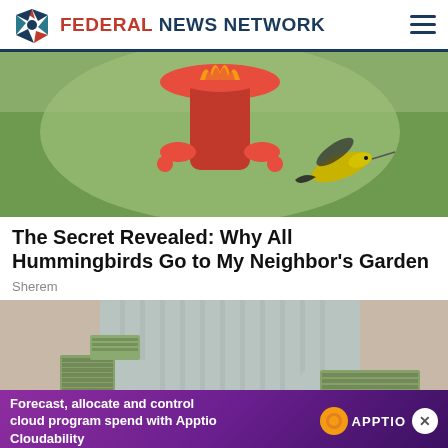FEDERAL NEWS NETWORK
[Figure (photo): A hummingbird approaching a red flower-shaped bird feeder, blurred green background]
The Secret Revealed: Why All Hummingbirds Go to My Neighbor's Garden
Sherem
[Figure (photo): A person in grey clothing handling large stacks of bundled currency/banknotes on a table]
Forecast, allocate and control cloud program spend with Apptio Cloudability